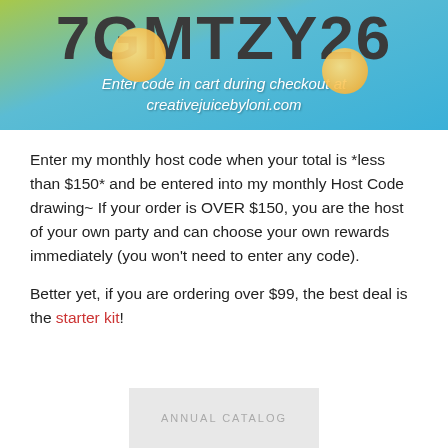[Figure (illustration): Promotional banner with orange slices and ice cubes on a blue-green background. Large dark text shows the host code '7GMTZY26'. White italic text below reads 'Enter code in cart during checkout at creativejuicebyloni.com']
Enter my monthly host code when your total is *less than $150* and be entered into my monthly Host Code drawing~ If your order is OVER $150, you are the host of your own party and can choose your own rewards immediately (you won't need to enter any code).
Better yet, if you are ordering over $99, the best deal is the starter kit!
[Figure (other): Bottom portion of an Annual Catalog image, light gray background with text 'ANNUAL CATALOG']